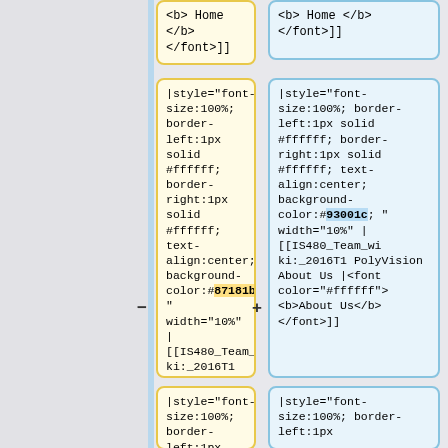[Figure (screenshot): Diff view showing two columns of wiki markup code cells. Top row shows partial cells ending with '</font>]]'. Middle row shows two large cells with style attributes including font-size:100%, border-left:1px solid #ffffff, border-right:1px solid #ffffff, text-align:center, background-color:#87181b (left, highlighted yellow) and #93001c (right, highlighted blue), width=10%, and link to IS480_Team_wiki:_2016T1 PolyVision About Us with font color #ffffff bold text. Minus symbol on left edge and plus symbol between columns. Bottom row shows partial cells beginning with '|style="font-size:100%; border-left:1px'.]